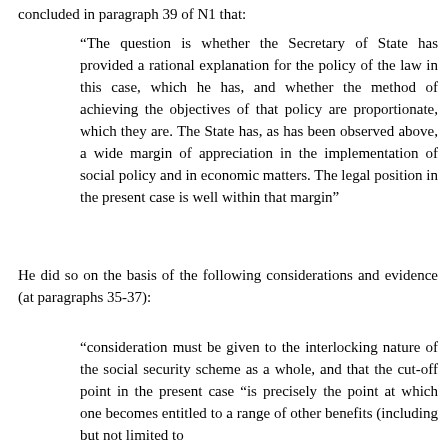concluded in paragraph 39 of N1 that:
“The question is whether the Secretary of State has provided a rational explanation for the policy of the law in this case, which he has, and whether the method of achieving the objectives of that policy are proportionate, which they are. The State has, as has been observed above, a wide margin of appreciation in the implementation of social policy and in economic matters. The legal position in the present case is well within that margin”
He did so on the basis of the following considerations and evidence (at paragraphs 35-37):
“consideration must be given to the interlocking nature of the social security scheme as a whole, and that the cut-off point in the present case “is precisely the point at which one becomes entitled to a range of other benefits (including but not limited to